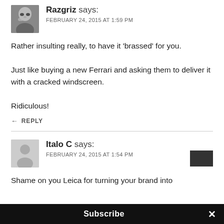[Figure (photo): Avatar photo of Razgriz commenter — grayscale photo of a bald person wearing sunglasses]
Razgriz says:
FEBRUARY 24, 2015 AT 1:59 PM
Rather insulting really, to have it ‘brassed’ for you.

Just like buying a new Ferrari and asking them to deliver it with a cracked windscreen.

Ridiculous!
← REPLY
[Figure (photo): Generic avatar silhouette for Italo C commenter]
Italo C says:
FEBRUARY 24, 2015 AT 1:54 PM
Shame on you Leica for turning your brand into
Subscribe